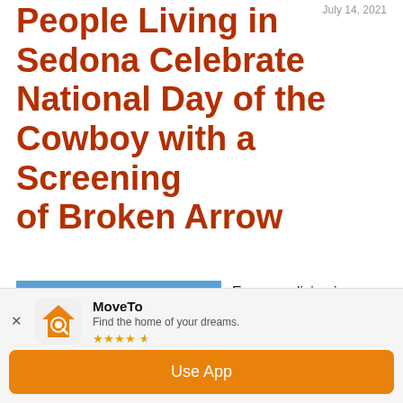July 14, 2021
People Living in Sedona Celebrate National Day of the Cowboy with a Screening of Broken Arrow
[Figure (photo): Landscape photo of Sedona area showing red rock cliffs and green shrubs/trees under a blue sky]
Everyone living in Sedona is invited to
MoveTo
Find the home of your dreams.
★★★★☆
Use App